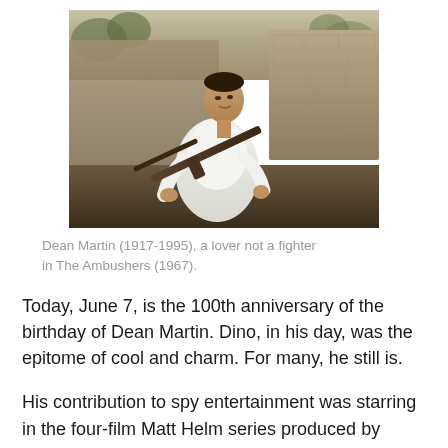[Figure (photo): Dean Martin in a white shirt holding a rifle/gun outdoors in front of a stone wall, from the 1967 film The Ambushers]
Dean Martin (1917-1995), a lover not a fighter in The Ambushers (1967).
Today, June 7, is the 100th anniversary of the birthday of Dean Martin. Dino, in his day, was the epitome of cool and charm. For many, he still is.
His contribution to spy entertainment was starring in the four-film Matt Helm series produced by Irving Allen, former partner of Eon Productions co-founder Albert R. Broccoli.